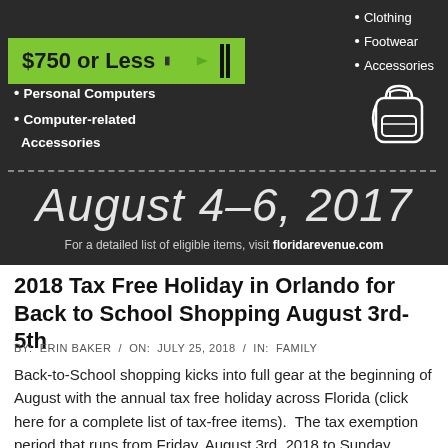[Figure (infographic): Dark chalkboard-style infographic about Florida Back-to-School Tax Free Holiday showing $750 or Less banner with green crayon, bullet lists for Clothing/Footwear/Accessories and Personal Computers/Computer-related Accessories, date August 4-6 2017 in chalk script, and a URL floridarevenue.com]
2018 Tax Free Holiday in Orlando for Back to School Shopping August 3rd-5th
BY:  ERIN BAKER  /  ON:  JULY 25, 2018  /  IN:  FAMILY
Back-to-School shopping kicks into full gear at the beginning of August with the annual tax free holiday across Florida (click here for a complete list of tax-free items).  The tax exemption period that runs from Friday, August 3rd, 2018 to Sunday, August 5th, 2018 eliminates both state and county taxes on